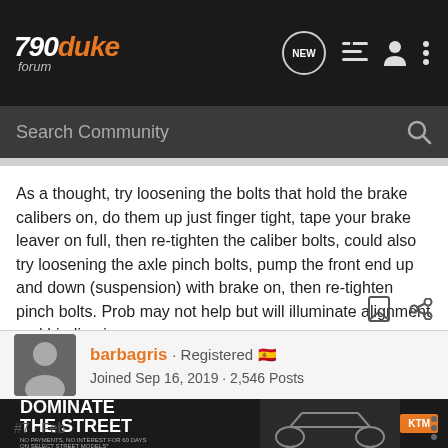790duke forum
As a thought, try loosening the bolts that hold the brake calibers on, do them up just finger tight, tape your brake leaver on full, then re-tighten the caliber bolts, could also try loosening the axle pinch bolts, pump the front end up and down (suspension) with brake on, then re-tighten pinch bolts. Prob may not help but will illuminate alignment and binding issues.
barbagris · Registered 🇪🇸
Joined Sep 16, 2019 · 2,546 Posts
[Figure (photo): KTM motorcycle advertisement banner: DOMINATE THE STREET. NO PAYMENTS, NO INTEREST FOR 60 DAYS ON SELECT STREET MODELS*]
#7 · Feb